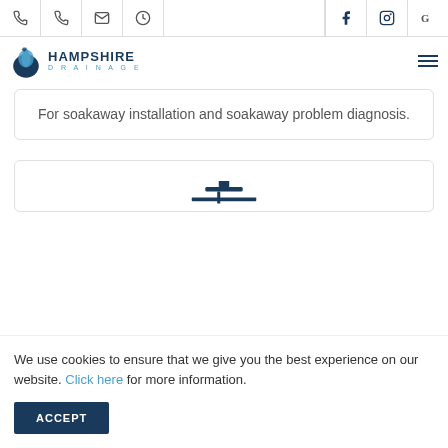[Figure (screenshot): Top navigation bar with phone, email, clock icons on left and Facebook, Instagram, Google icons on right]
[Figure (logo): Hampshire Drainage logo with droplet icon and company name]
For soakaway installation and soakaway problem diagnosis.
[Figure (illustration): Partial drainage icon visible at bottom of page]
We use cookies to ensure that we give you the best experience on our website. Click here for more information.
ACCEPT